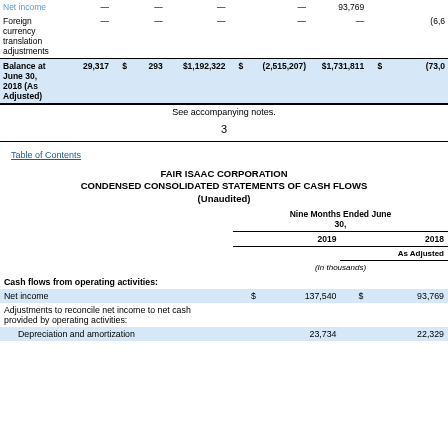|  |  |  |  |  |  |  |
| --- | --- | --- | --- | --- | --- | --- |
| Net income | — | — | — | — | 93,769 |  |
| Foreign currency translation adjustments | — | — | — | — | — | (6,6… |
| Balance at June 30, 2018 (As Adjusted) | 29,317 | $ 293 | $1,192,322 | $ (2,515,207) | $1,731,811 | $ (73,0… |
See accompanying notes.
3
Table of Contents
FAIR ISAAC CORPORATION
CONDENSED CONSOLIDATED STATEMENTS OF CASH FLOWS
(Unaudited)
|  | Nine Months Ended June 30, |  |
| --- | --- | --- |
|  | 2019 | 2018 |
|  |  | As Adjusted |
|  | (In thousands) |  |
| Cash flows from operating activities: |  |  |
| Net income | $ 137,540 | $ 93,769 |
| Adjustments to reconcile net income to net cash provided by operating activities: |  |  |
| Depreciation and amortization | 23,734 | 22,329 |